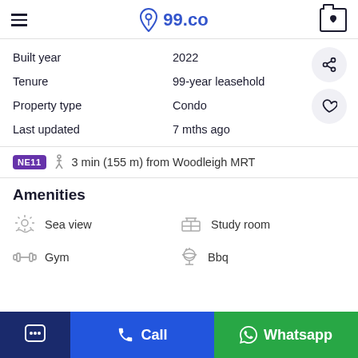99.co
| Property detail | Value |
| --- | --- |
| Built year | 2022 |
| Tenure | 99-year leasehold |
| Property type | Condo |
| Last updated | 7 mths ago |
NE11 🚶 3 min (155 m) from Woodleigh MRT
Amenities
Sea view
Study room
Gym
Bbq